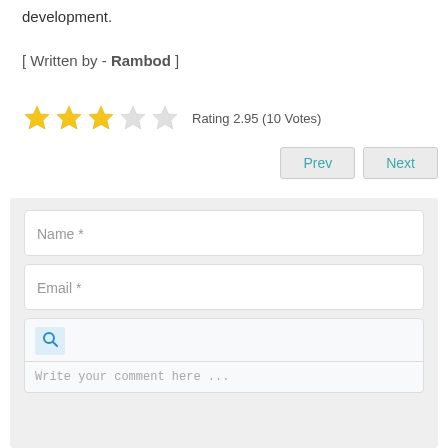development.
[ Written by - Rambod ]
[Figure (other): Star rating: 3 filled gold stars, 2 empty stars. Rating 2.95 (10 Votes)]
Prev   Next
[Figure (screenshot): Comment form with Name *, Email *, and a comment textarea with search icon and placeholder 'Write your comment here ...']